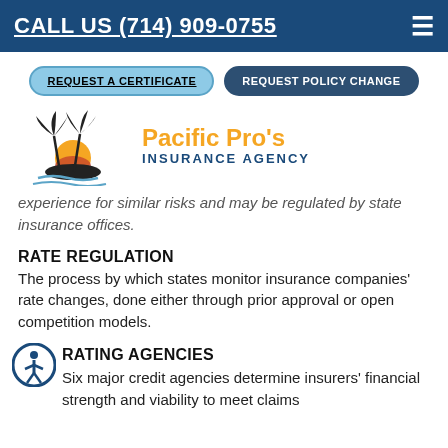CALL US (714) 909-0755
REQUEST A CERTIFICATE    REQUEST POLICY CHANGE
[Figure (logo): Pacific Pro's Insurance Agency logo with palm trees and sunset icon]
experience for similar risks and may be regulated by state insurance offices.
RATE REGULATION
The process by which states monitor insurance companies' rate changes, done either through prior approval or open competition models.
RATING AGENCIES
Six major credit agencies determine insurers' financial strength and viability to meet claims